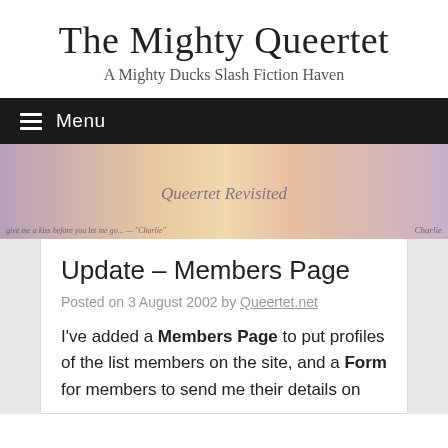The Mighty Queertet
A Mighty Ducks Slash Fiction Haven
Menu
[Figure (illustration): Banner image with stylized characters and text 'Queertet Revisited', with small italic text on left and right edges]
Update – Members Page
Posted on 3 August 2002 by Queertet.net
I've added a Members Page to put profiles of the list members on the site, and a Form for members to send me their details on